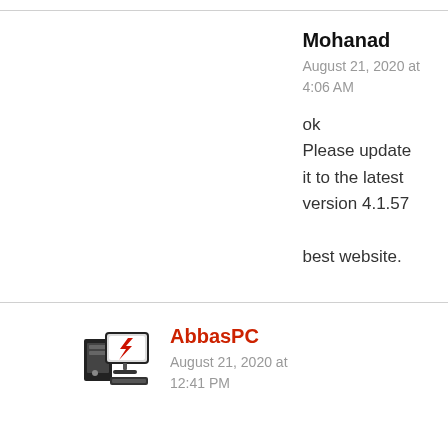Mohanad
August 21, 2020 at 4:06 AM
ok
Please update it to the latest version 4.1.57

best website.
[Figure (logo): AbbasPC logo: computer tower with red lightning bolt graphic on monitor screen]
AbbasPC
August 21, 2020 at 12:41 PM